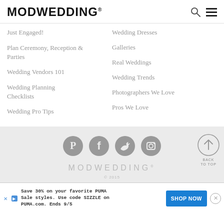MODWEDDING®
Just Engaged!
Plan Ceremony, Reception & Parties
Wedding Vendors 101
Wedding Planning Checklists
Wedding Pro Tips
Wedding Dresses
Galleries
Real Weddings
Wedding Trends
Photographers We Love
Pros We Love
[Figure (illustration): Social media icons: Pinterest, Facebook, Twitter, Instagram (grey circles)]
MODWEDDING® © 2015
Save 30% on your favorite PUMA Sale styles. Use code SIZZLE on PUMA.com. Ends 9/5
SHOP NOW